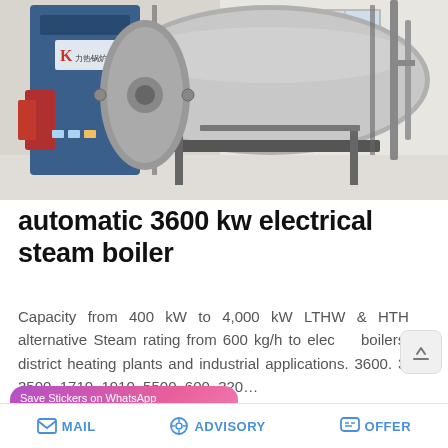[Figure (photo): Industrial electric steam boiler in a white-walled facility. A large cylindrical silver boiler tank on a metal frame is visible, with a blue control cabinet with Chinese branding on the left, red components, and pipes/scaffolding around it.]
automatic 3600 kw electrical steam boiler
Capacity from 400 kW to 4,000 kW LTHW & HTHW alternative Steam rating from 600 kg/h to electric boilers in district heating plants and industrial applications. 3600. 3.5. 3500. 1710. 1910. 5500. 600. 320...